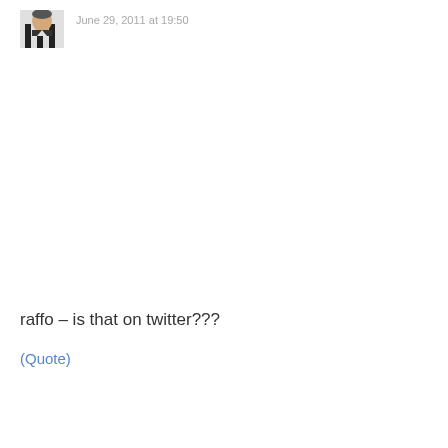[Figure (photo): Black and white avatar photo of a person wearing a striped jersey]
June 29, 2011 at 19:50
raffo – is that on twitter???
(Quote)